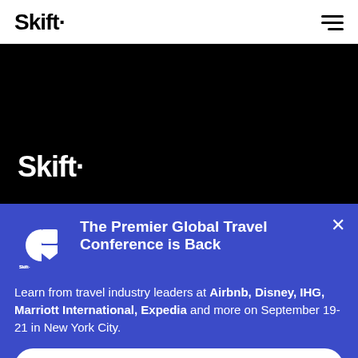Skift
[Figure (logo): Skift logo on black background banner]
The Premier Global Travel Conference is Back
Learn from travel industry leaders at Airbnb, Disney, IHG, Marriott International, Expedia and more on September 19-21 in New York City.
Learn More